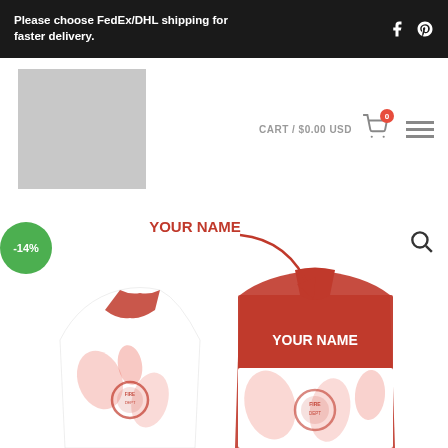Please choose FedEx/DHL shipping for faster delivery.
[Figure (logo): Website logo placeholder (gray rectangle)]
CART / $0.00 USD
[Figure (photo): Customizable fire department Hawaiian polo shirt shown front and back with 'YOUR NAME' label and red arrow pointing to name placement on back collar. Red tropical floral pattern with fire department emblem. -14% discount badge.]